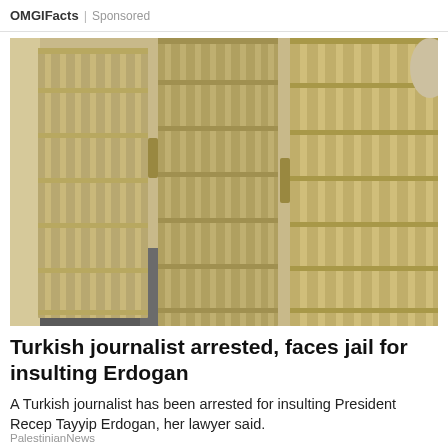OMGIFacts | Sponsored
[Figure (photo): Prison cell bars — rows of metal jail cell bars and gates in a corridor, tan/beige colored, with concrete floors and walls.]
Turkish journalist arrested, faces jail for insulting Erdogan
A Turkish journalist has been arrested for insulting President Recep Tayyip Erdogan, her lawyer said.
PalestinianNews